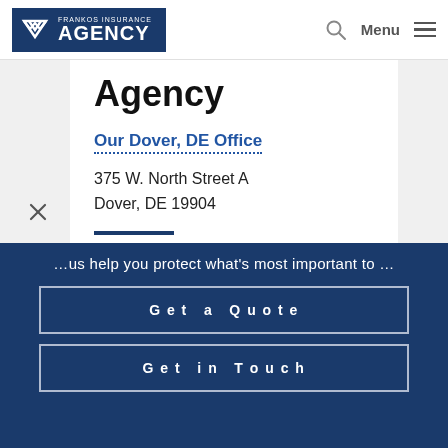Frankos Insurance Agency
Agency
Our Dover, DE Office
375 W. North Street A
Dover, DE 19904
Let us help you protect what's most important to you
Get a Quote
Get in Touch